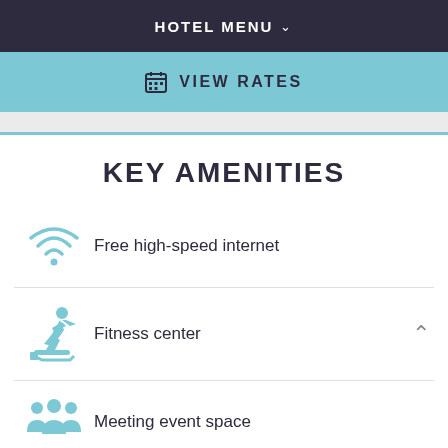HOTEL MENU
VIEW RATES
KEY AMENITIES
Free high-speed internet
Fitness center
Meeting event space